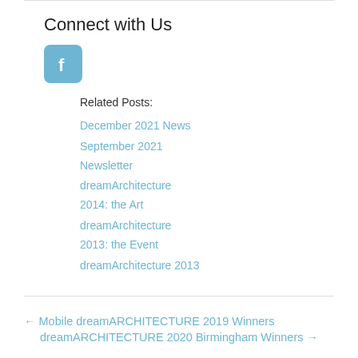Connect with Us
[Figure (logo): Facebook logo icon — blue rounded square with white 'f']
Related Posts:
December 2021 News
September 2021 Newsletter
dreamArchitecture 2014: the Art
dreamArchitecture 2013: the Event
dreamArchitecture 2013
← Mobile dreamARCHITECTURE 2019 Winners
dreamARCHITECTURE 2020 Birmingham Winners →